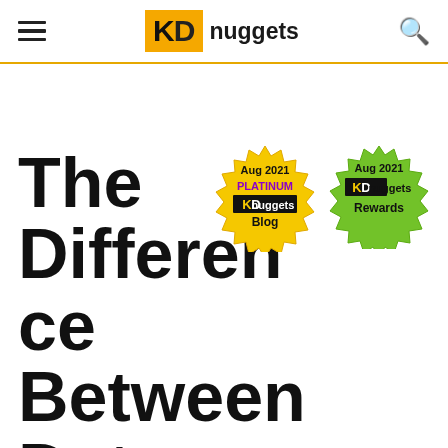KDnuggets
[Figure (logo): KDnuggets logo with hamburger menu and search icon]
[Figure (illustration): Aug 2021 PLATINUM KDnuggets Blog gold badge and Aug 2021 KDnuggets Rewards green badge]
The Difference Between Data